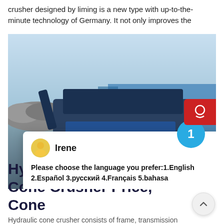crusher designed by liming is a new type with up-to-the-minute technology of Germany. It not only improves the
[Figure (photo): Outdoor industrial photo of a large hydraulic cone crusher machine with blue body on tracked base, set against a sandy outdoor environment with blue sky background. A live chat popup overlay is visible showing a chat agent named 'Irene' asking: 'Please choose the language you prefer:1.English 2.Español 3.русский 4.Français 5.bahasa'. A red support icon is visible top right, a blue circle badge with '1' is at the bottom right of the image.]
Hydraulic Cone Crusher, Cone Crusher Price, Cone
Hydraulic cone crusher consists of frame, transmission